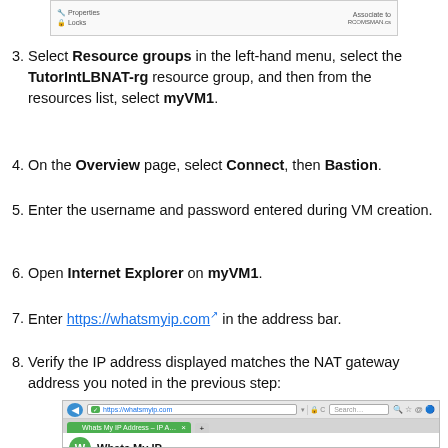[Figure (screenshot): Top portion of a browser/portal screenshot showing menu items 'Properties' and 'Locks' on the left, and 'Associate to' text on the right]
3. Select Resource groups in the left-hand menu, select the TutorIntLBNAT-rg resource group, and then from the resources list, select myVM1.
4. On the Overview page, select Connect, then Bastion.
5. Enter the username and password entered during VM creation.
6. Open Internet Explorer on myVM1.
7. Enter https://whatsmyip.com in the address bar.
8. Verify the IP address displayed matches the NAT gateway address you noted in the previous step:
[Figure (screenshot): Browser window showing https://whatsmyip.com open in Internet Explorer with the Whats My IP page loading]